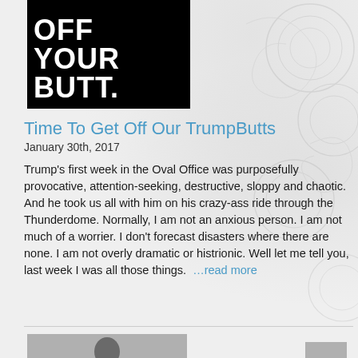[Figure (photo): Black background image with white handwritten-style text reading 'OFF YOUR BUTT.' (partial, top clipped)]
Time To Get Off Our TrumpButts
January 30th, 2017
Trump’s first week in the Oval Office was purposefully provocative, attention-seeking, destructive, sloppy and chaotic. And he took us all with him on his crazy-ass ride through the Thunderdome. Normally, I am not an anxious person. I am not much of a worrier. I don’t forecast disasters where there are none. I am not overly dramatic or histrionic. Well let me tell you, last week I was all those things. …read more
[Figure (photo): Black and white photograph of a person in a jacket holding a French horn]